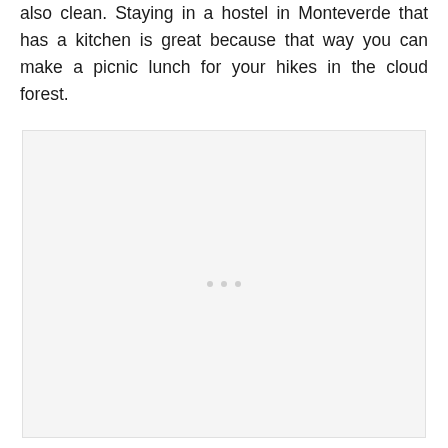also clean. Staying in a hostel in Monteverde that has a kitchen is great because that way you can make a picnic lunch for your hikes in the cloud forest.
[Figure (photo): A large placeholder image area with a light gray background, showing three small gray dots centered in the lower-middle portion of the image area, indicating an image that is loading or unavailable.]